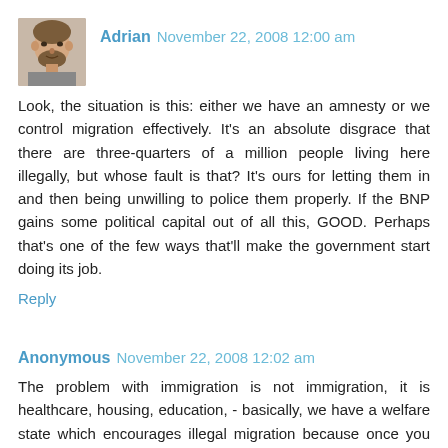[Figure (photo): Avatar photo of user Adrian — a man with a beard, grayscale thumbnail]
Adrian November 22, 2008 12:00 am
Look, the situation is this: either we have an amnesty or we control migration effectively. It's an absolute disgrace that there are three-quarters of a million people living here illegally, but whose fault is that? It's ours for letting them in and then being unwilling to police them properly. If the BNP gains some political capital out of all this, GOOD. Perhaps that's one of the few ways that'll make the government start doing its job.
Reply
Anonymous November 22, 2008 12:02 am
The problem with immigration is not immigration, it is healthcare, housing, education, - basically, we have a welfare state which encourages illegal migration because once you are here, legally or otherwise, you are very difficult to remove.
Boris makes a fair point, but Spain and the US have had